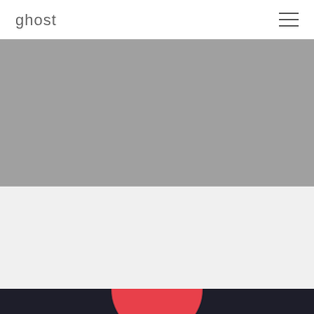ghost
[Figure (photo): Gray placeholder image area for Cloud 9 Perception project]
Cloud 9 Perception
Brand Identity | Brand Video | Website | Print Collateral | Presentation Template | App UI/UX
[Figure (illustration): Dark navy bottom strip with red circle graphic partially visible]